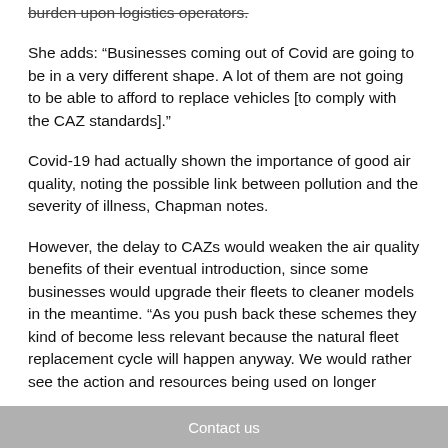burden upon logistics operators.
She adds: “Businesses coming out of Covid are going to be in a very different shape. A lot of them are not going to be able to afford to replace vehicles [to comply with the CAZ standards].”
Covid-19 had actually shown the importance of good air quality, noting the possible link between pollution and the severity of illness, Chapman notes.
However, the delay to CAZs would weaken the air quality benefits of their eventual introduction, since some businesses would upgrade their fleets to cleaner models in the meantime. “As you push back these schemes they kind of become less relevant because the natural fleet replacement cycle will happen anyway. We would rather see the action and resources being used on longer
Contact us